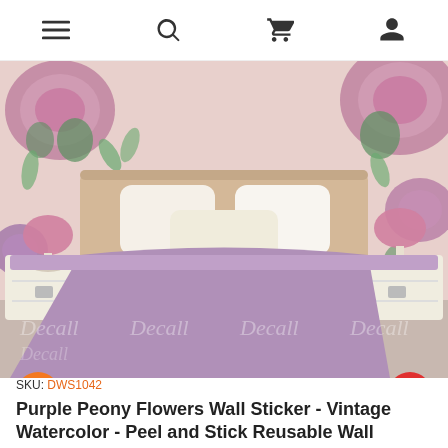≡  🔍  🛒  👤
[Figure (photo): Bedroom scene with a bed covered in purple/mauve bedspread, white pillows, two white nightstands with pink lamps, and large purple peony flower wall stickers decorating the pink wall behind. Watermark 'Decall' repeated across the bottom portion of the image. Orange circular star button bottom-left, orange circular heart button bottom-right.]
SKU: DWS1042
Purple Peony Flowers Wall Sticker - Vintage Watercolor - Peel and Stick Reusable Wall Stickers - DWS1042